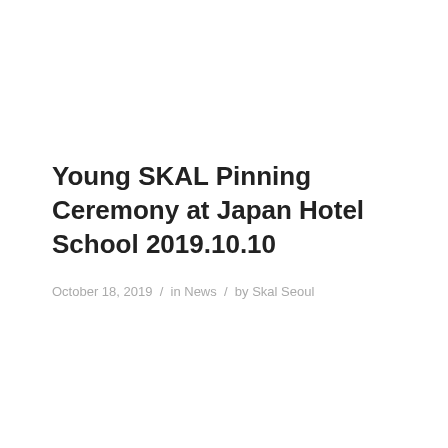Young SKAL Pinning Ceremony at Japan Hotel School 2019.10.10
October 18, 2019  /  in News  /  by Skal Seoul